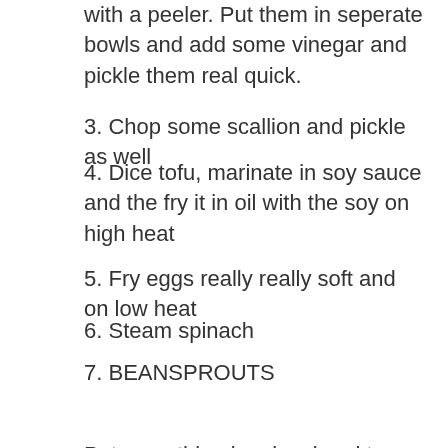with a peeler. Put them in seperate bowls and add some vinegar and pickle them real quick.
3. Chop some scallion and pickle as well
4. Dice tofu, marinate in soy sauce and the fry it in oil with the soy on high heat
5. Fry eggs really really soft and on low heat
6. Steam spinach
7. BEANSPROUTS
Put everything in a bowl and top with cilantro, mayonnaise and sesame seeds. DONE AND DONE.
[Figure (photo): Close-up photo of a decorative black and white patterned textile or surface]